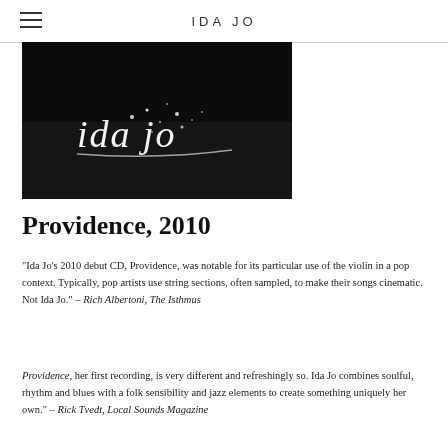IDA JO
[Figure (photo): Black and white photo with stylized cursive 'ida jo' logo text in white on dark background]
Providence, 2010
"Ida Jo's 2010 debut CD, Providence, was notable for its particular use of the violin in a pop context. Typically, pop artists use string sections, often sampled, to make their songs cinematic. Not Ida Jo." – Rich Albertoni, The Isthmus
Providence, her first recording, is very different and refreshingly so. Ida Jo combines soulful, rhythm and blues with a folk sensibility and jazz elements to create something uniquely her own." – Rick Tvedt, Local Sounds Magazine